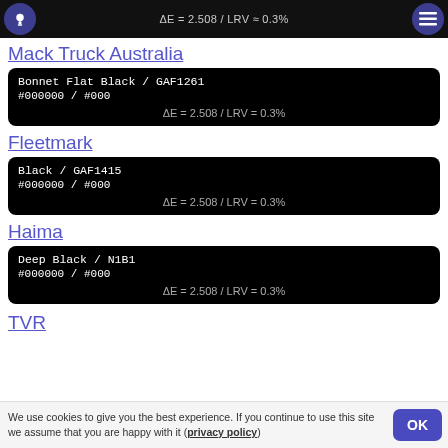ΔE = 2.508 / LRV ≈ 0.3%
Mack Truck Australia
Bonnet Flat Black / GAF1261
#000000 / #000
ΔE = 2.508 / LRV = 0.3%
Fleetmark
Black / GAF1415
#000000 / #000
ΔE = 2.508 / LRV = 0.3%
Haima
Deep Black / N1B1
#000000 / #000
ΔE = 2.508 / LRV = 0.3%
TVR
We use cookies to give you the best experience. If you continue to use this site we assume that you are happy with it (privacy policy)